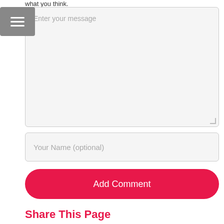what you think.
[Figure (screenshot): Text area input box with placeholder text 'Enter your message']
[Figure (screenshot): Text input box with placeholder text 'Your Name (optional)']
[Figure (screenshot): Red rounded button labeled 'Add Comment']
Share This Page
Share this page with others using one of the methods below. Telling others about Daft Logic is good and we